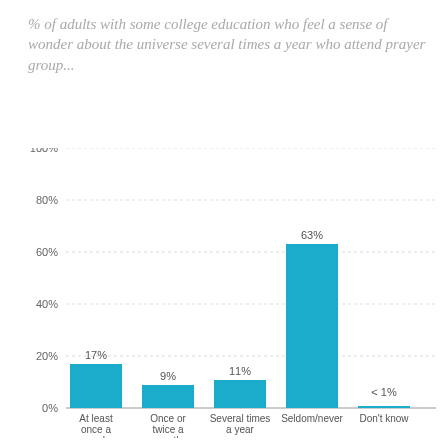% of adults with some college education who feel a sense of wonder about the universe several times a year who attend prayer group...
[Figure (bar-chart): % of adults with some college education who feel a sense of wonder about the universe several times a year who attend prayer group...]